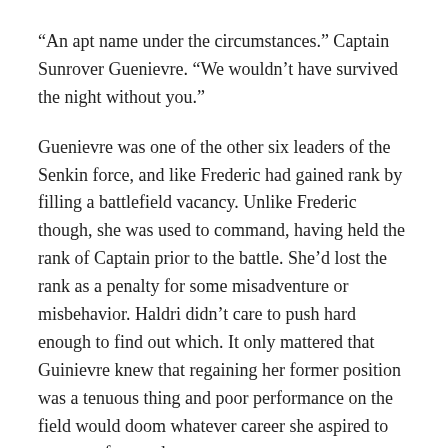“An apt name under the circumstances.” Captain Sunrover Guenievre. “We wouldn’t have survived the night without you.”
Guenievre was one of the other six leaders of the Senkin force, and like Frederic had gained rank by filling a battlefield vacancy. Unlike Frederic though, she was used to command, having held the rank of Captain prior to the battle. She’d lost the rank as a penalty for some misadventure or misbehavior. Haldri didn’t care to push hard enough to find out which. It only mattered that Guinievre knew that regaining her former position was a tenuous thing and poor performance on the field would doom whatever career she aspired to possess afterwards.
“I am more concerned that we may not survive the day, even with my counsel,” Haldri said, striving to keep the focus on the matter at hand. The Green Council was a threat sufficient to overthrow a realm. Haldri needed to make sure it was also